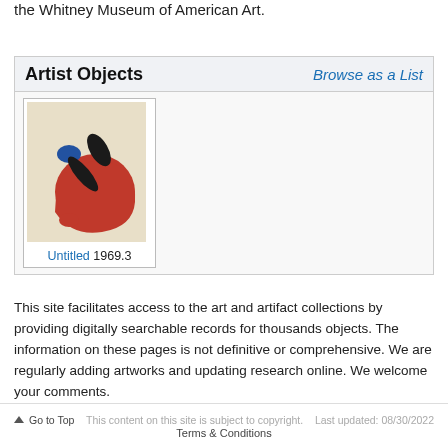the Whitney Museum of American Art.
Artist Objects
Browse as a List
[Figure (photo): Thumbnail image of an artwork titled 'Untitled 1969.3' showing abstract shapes in red, black, and blue on a beige background.]
Untitled 1969.3
This site facilitates access to the art and artifact collections by providing digitally searchable records for thousands objects. The information on these pages is not definitive or comprehensive. We are regularly adding artworks and updating research online. We welcome your comments.
Go to Top   This content on this site is subject to copyright.   Last updated: 08/30/2022   Terms & Conditions